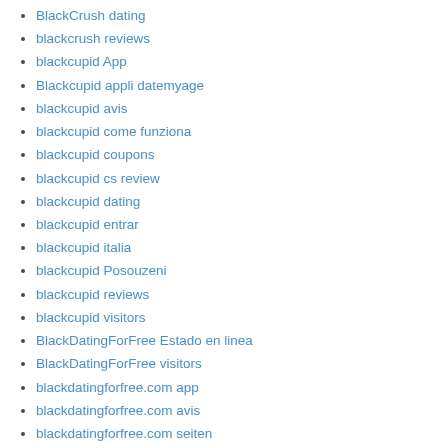BlackCrush dating
blackcrush reviews
blackcupid App
Blackcupid appli datemyage
blackcupid avis
blackcupid come funziona
blackcupid coupons
blackcupid cs review
blackcupid dating
blackcupid entrar
blackcupid italia
blackcupid Posouzeni
blackcupid reviews
blackcupid visitors
BlackDatingForFree Estado en linea
BlackDatingForFree visitors
blackdatingforfree.com app
blackdatingforfree.com avis
blackdatingforfree.com seiten
blackdatingforfree.com web
blackfling avis
blackfling entrar
blackfling funziona